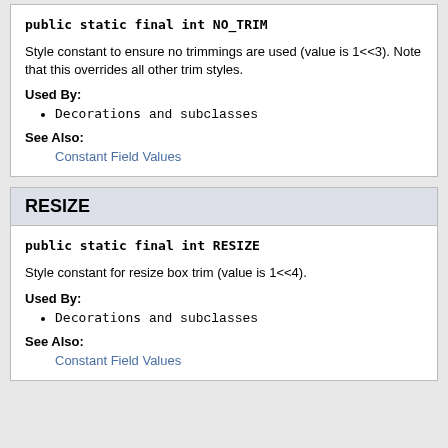public static final int NO_TRIM
Style constant to ensure no trimmings are used (value is 1<<3). Note that this overrides all other trim styles.
Used By:
Decorations and subclasses
See Also:
Constant Field Values
RESIZE
public static final int RESIZE
Style constant for resize box trim (value is 1<<4).
Used By:
Decorations and subclasses
See Also:
Constant Field Values